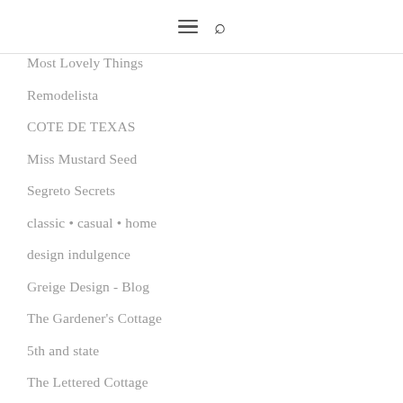≡ 🔍
Most Lovely Things
Remodelista
COTE DE TEXAS
Miss Mustard Seed
Segreto Secrets
classic • casual • home
design indulgence
Greige Design - Blog
The Gardener's Cottage
5th and state
The Lettered Cottage
My Sweet Savannah
Color Outside the Lines